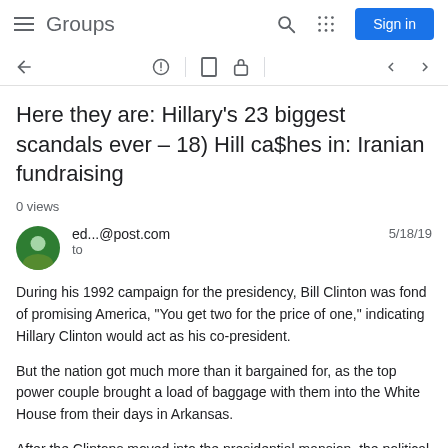Groups  Sign in
Here they are: Hillary's 23 biggest scandals ever – 18) Hill ca$hes in: Iranian fundraising
0 views
ed...@post.com  to  5/18/19
During his 1992 campaign for the presidency, Bill Clinton was fond of promising America, "You get two for the price of one," indicating Hillary Clinton would act as his co-president.
But the nation got much more than it bargained for, as the top power couple brought a load of baggage with them into the White House from their days in Arkansas.
After the Clintons moved into the presidential mansion, the political scandals multiplied – from use of the IRS and FBI to target political opponents to stalking and harassing subjects of Bill Clinton's sexual advances and even attempts to bot...